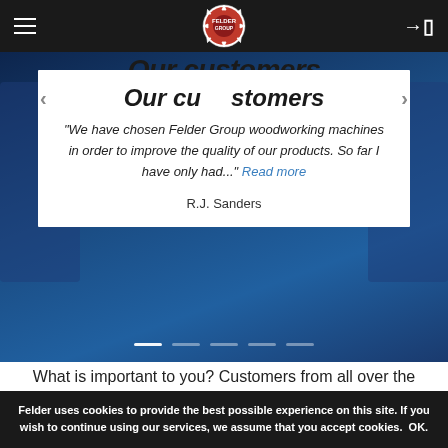Felder Group navigation bar with logo
[Figure (screenshot): Blue background banner section with white testimonial card, navigation arrows, and carousel dots]
"We have chosen Felder Group woodworking machines in order to improve the quality of our products. So far I have only had..." Read more
R.J. Sanders
What is important to you? Customers from all over the world explain why they have chosen a
Felder uses cookies to provide the best possible experience on this site. If you wish to continue using our services, we assume that you accept cookies. OK.